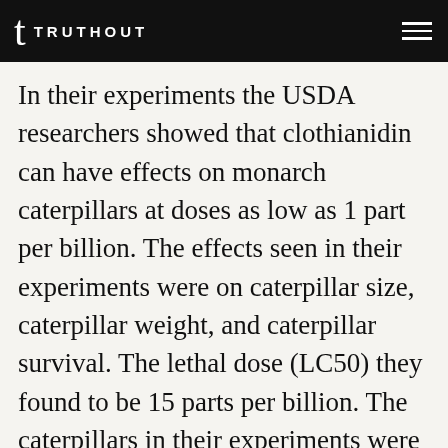TRUTHOUT
In their experiments the USDA researchers showed that clothianidin can have effects on monarch caterpillars at doses as low as 1 part per billion. The effects seen in their experiments were on caterpillar size, caterpillar weight, and caterpillar survival. The lethal dose (LC50) they found to be 15 parts per billion. The caterpillars in their experiments were exposed to clothianidin-treated food for only 36hrs, however. The researchers therefore noted that in agricultural environments caterpillar